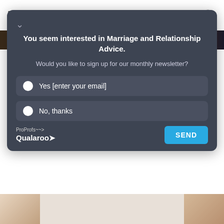marriage.com
[Figure (photo): Partial photo strip showing holiday/celebration scene]
Gift Ideas
6... for H...
B...
You seem interested in Marriage and Relationship Advice. Would you like to sign up for our monthly newsletter?
Yes [enter your email]
No, thanks
ProProfs Qualaroo
SEND